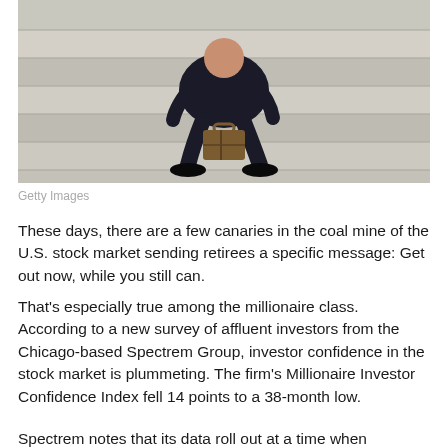[Figure (photo): A person in a dark suit sitting on stone steps with a briefcase beside them, head bowed down.]
Getty Images
These days, there are a few canaries in the coal mine of the U.S. stock market sending retirees a specific message: Get out now, while you still can.
That's especially true among the millionaire class. According to a new survey of affluent investors from the Chicago-based Spectrem Group, investor confidence in the stock market is plummeting. The firm's Millionaire Investor Confidence Index fell 14 points to a 38-month low.
Spectrem notes that its data roll out at a time when